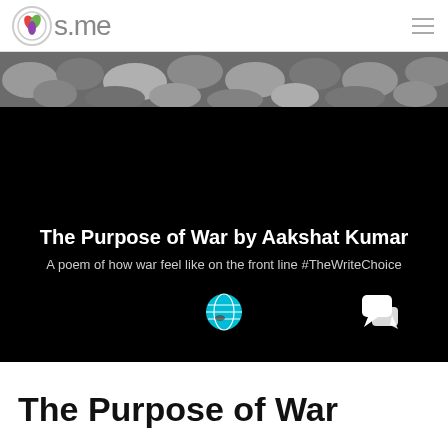Os.me
[Figure (photo): Stones/pebbles background image at top of page hero section]
The Purpose of War by Aakshat Kumar
A poem of how war feel like on the front line #TheWriteChoice
[Figure (other): Globe icon (teal/cyan) and chat bubble icon (white) on black background]
The Purpose of War